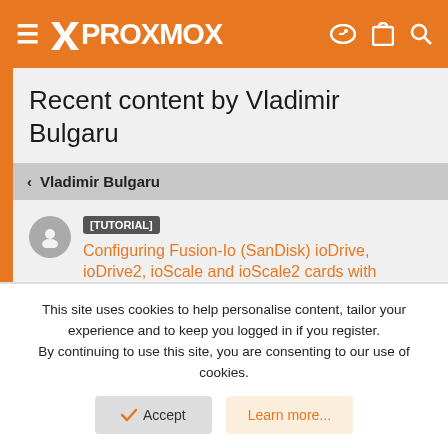PROXMOX
Recent content by Vladimir Bulgaru
< Vladimir Bulgaru
[TUTORIAL] Configuring Fusion-Io (SanDisk) ioDrive, ioDrive2, ioScale and ioScale2 cards with Proxmox
Hey, @Psilospiral and others! I haven't abandoned the thread, although I understand that updates are needed. My main concern at this moment is that regardless of the configs, flags and other tweaks my Windows 10 VM performance on Proxmox 7 is simply abysmal. I have 2
This site uses cookies to help personalise content, tailor your experience and to keep you logged in if you register.
By continuing to use this site, you are consenting to our use of cookies.